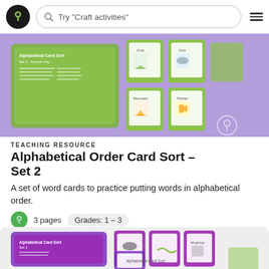Try "Craft activities"
[Figure (screenshot): Alphabetical Order Card Sort Set 2 teaching resource preview showing green flashcards with images on a purple background]
TEACHING RESOURCE
Alphabetical Order Card Sort – Set 2
A set of word cards to practice putting words in alphabetical order.
3 pages   Grades: 1 – 3
[Figure (screenshot): Alphabetical Order Card Sort Set 1 teaching resource preview showing purple flashcards with images on a light gray background]